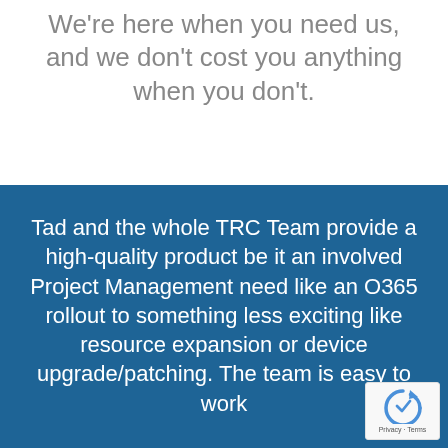We're here when you need us, and we don't cost you anything when you don't.
Tad and the whole TRC Team provide a high-quality product be it an involved Project Management need like an O365 rollout to something less exciting like resource expansion or device upgrade/patching. The team is easy to work
[Figure (logo): reCAPTCHA badge with spinning arrow logo and Privacy · Terms text]